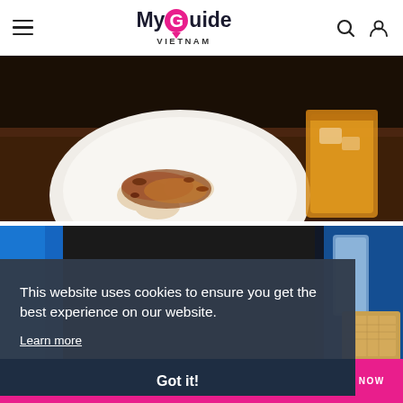MyGuide VIETNAM
[Figure (photo): Close-up photo of Vietnamese food on a white plate with crispy toppings, alongside a glass of amber-colored drink, on a dark wooden table]
[Figure (photo): Partial photo of Vietnamese food and drinks with blue background elements visible]
This website uses cookies to ensure you get the best experience on our website.
Learn more
Reserve Your Experience...
Local Bite Tour
Got it!
BOOK NOW